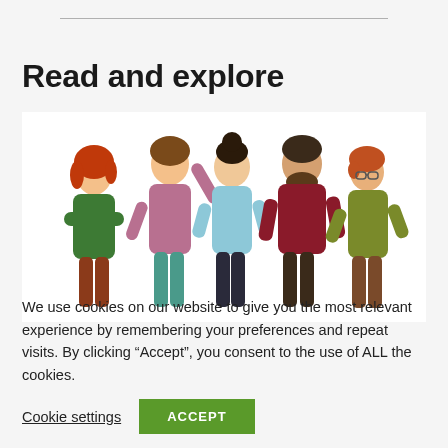Read and explore
[Figure (illustration): Cartoon illustration of five people standing together in a group, smiling and posing casually. From left to right: a woman with red hair in a green top with arms crossed, a man in a pink/mauve shirt with one arm raised, a woman with dark hair in a light blue top, a man with a beard in a dark red/maroon top, and a woman with short reddish hair and glasses in an olive/khaki top.]
We use cookies on our website to give you the most relevant experience by remembering your preferences and repeat visits. By clicking “Accept”, you consent to the use of ALL the cookies.
Cookie settings
ACCEPT